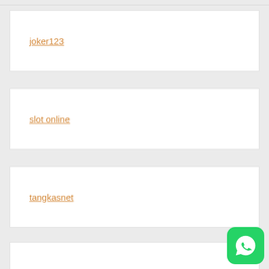joker123
slot online
tangkasnet
game slot online